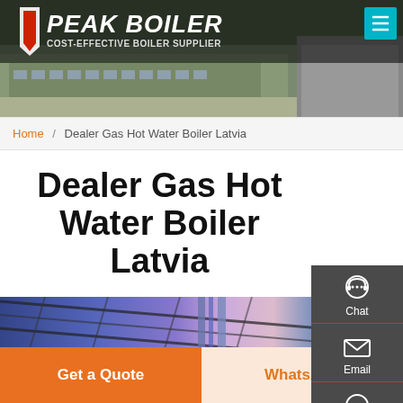[Figure (photo): Peak Boiler company logo and header banner showing industrial building exterior, with teal menu button in top right corner]
Home / Dealer Gas Hot Water Boiler Latvia
Dealer Gas Hot Water Boiler Latvia
[Figure (photo): Interior industrial photo showing steel roof structure with blue/purple lighting and pipes]
Get a Quote
WhatsApp